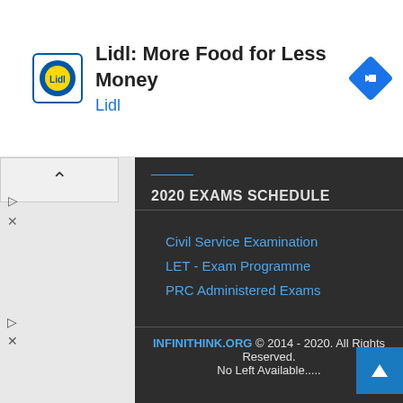[Figure (infographic): Lidl advertisement banner with logo, text 'Lidl: More Food for Less Money', subtitle 'Lidl', and a blue direction/navigation diamond icon on the right.]
2020 EXAMS SCHEDULE
Civil Service Examination
LET - Exam Programme
PRC Administered Exams
GOVERNMENT PORTALS
The PH Government
PH Emergency Hotlines
List of Gov't Agencies
INFINITHINK.ORG © 2014 - 2020. All Rights Reserved.
No Left Available.....